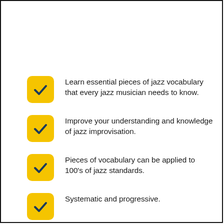Learn essential pieces of jazz vocabulary that every jazz musician needs to know.
Improve your understanding and knowledge of jazz improvisation.
Pieces of vocabulary can be applied to 100's of jazz standards.
Systematic and progressive.
Access to private course questions area.
Continuously updated with new shapes.